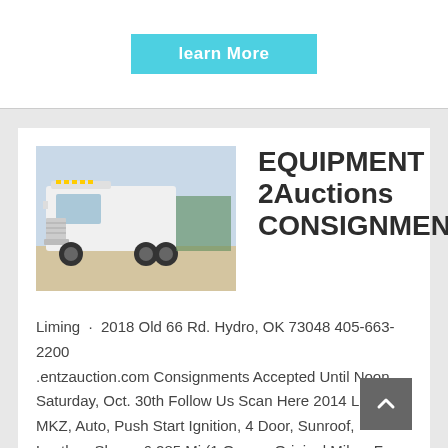[Figure (other): A cyan/turquoise 'learn More' button at top of page]
[Figure (photo): A white semi-truck / tractor cab photographed outdoors in a dry landscape]
EQUIPMENT 2Auctions CONSIGNMENT
Liming · 2018 Old 66 Rd. Hydro, OK 73048 405-663-2200 .entzauction.com Consignments Accepted Until Noon Saturday, Oct. 30th Follow Us Scan Here 2014 Lincoln MKZ, Auto, Push Start Ignition, 4 Door, Sunroof, Leather, Shows 6,285 Mi.(1 Owner, Original Miles, From Berrong Estate) 2006